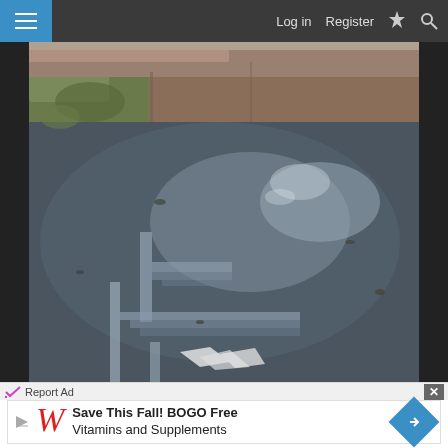Log in   Register
[Figure (photo): Outdoor flooded area with standing water covering a paved or dirt surface. Reflections of structures (walls/steps) visible in the water. Green moss/algae on edges. Appears to be a flooded courtyard or pool area.]
Report Ad
Save This Fall! BOGO Free Vitamins and Supplements